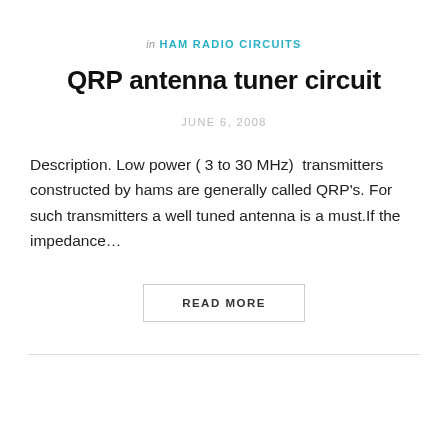in HAM RADIO CIRCUITS
QRP antenna tuner circuit
JUNE 6, 2008
Description. Low power ( 3 to 30 MHz)  transmitters constructed by hams are generally called QRP's. For such transmitters a well tuned antenna is a must.If the impedance…
READ MORE